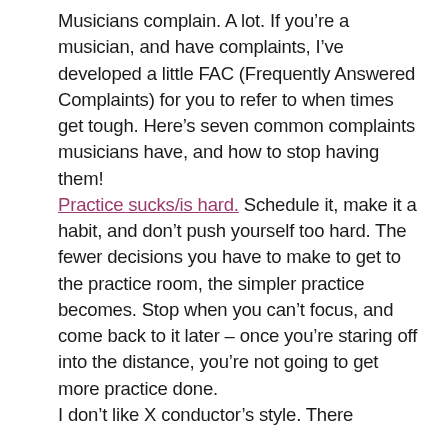Musicians complain. A lot. If you're a musician, and have complaints, I've developed a little FAC (Frequently Answered Complaints) for you to refer to when times get tough. Here's seven common complaints musicians have, and how to stop having them!
Practice sucks/is hard. Schedule it, make it a habit, and don't push yourself too hard. The fewer decisions you have to make to get to the practice room, the simpler practice becomes. Stop when you can't focus, and come back to it later – once you're staring off into the distance, you're not going to get more practice done.
I don't like X conductor's style. There